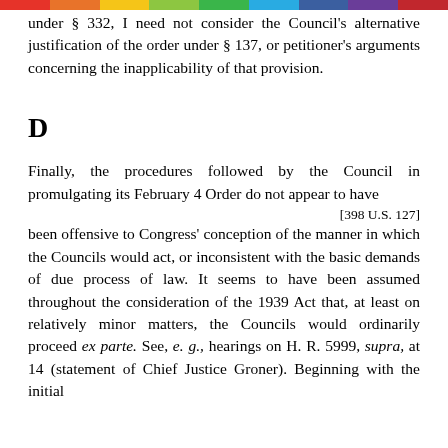under § 332, I need not consider the Council's alternative justification of the order under § 137, or petitioner's arguments concerning the inapplicability of that provision.
D
Finally, the procedures followed by the Council in promulgating its February 4 Order do not appear to have
[398 U.S. 127]
been offensive to Congress' conception of the manner in which the Councils would act, or inconsistent with the basic demands of due process of law. It seems to have been assumed throughout the consideration of the 1939 Act that, at least on relatively minor matters, the Councils would ordinarily proceed ex parte. See, e. g., hearings on H. R. 5999, supra, at 14 (statement of Chief Justice Groner). Beginning with the initial